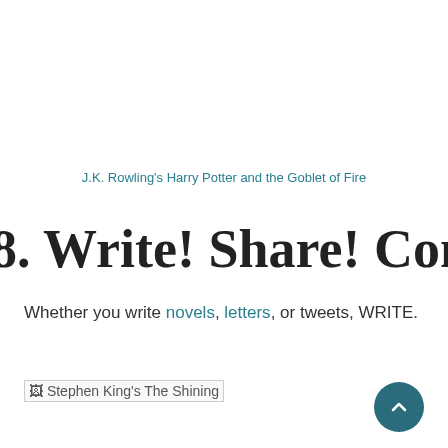J.K. Rowling's Harry Potter and the Goblet of Fire
8. Write! Share! Comment! R
Whether you write novels, letters, or tweets, WRITE.
[Figure (other): Broken image placeholder for Stephen King's The Shining]